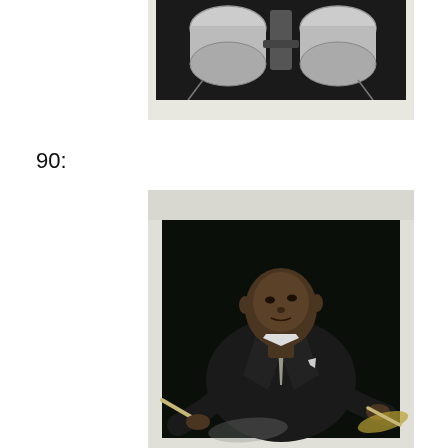[Figure (photo): Black and white photograph (partially visible, cropped at top) showing drum kit — toms, cymbals and hardware — against a dark background. The photo has a white border/mount.]
90:
[Figure (photo): Black and white photograph of a man in a dark suit and patterned tie playing drums. He is looking upward while holding drumsticks, with cymbals visible in foreground. Photo has a white border/mount.]